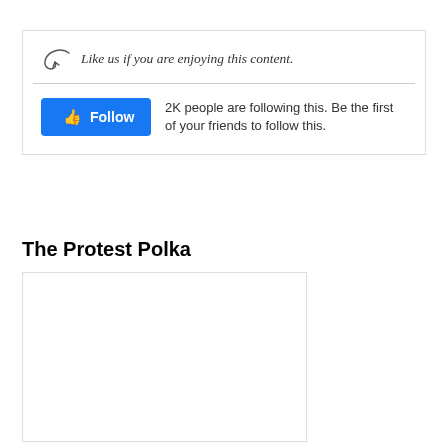[Figure (screenshot): Facebook-style widget with handwritten arrow icon and text 'Like us if you are enjoying this content.' A blue Follow button with thumbs up icon and text '2K people are following this. Be the first of your friends to follow this.']
The Protest Polka
[Figure (photo): White/blank image box below the title]